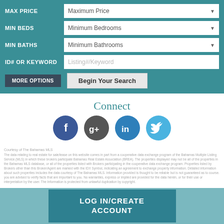[Figure (screenshot): Search filter panel with teal background showing MAX PRICE, MIN BEDS, MIN BATHS dropdowns and ID#/KEYWORD input, with MORE OPTIONS and Begin Your Search buttons]
Connect
[Figure (infographic): Four social media icons in circles: Facebook (blue), Google+ (dark grey), LinkedIn (medium blue), Twitter (light blue)]
Courtesy of The Bahamas MLS
The data relating to real estate for sale/lease on this website comes in part from a cooperative data exchange program of the Bahamas Multiple Listing Service (MLS) in which these brokers participate Bahamas Real Estate Association (BREA). The properties displayed may not be all of the properties in the Bahamas MLS database, or all of the properties listed with Brokers participating in the cooperative data exchange program. Properties listed by Brokers other than this Broker/Agent are marked with the IDX Symbol, indicating an agreement to exchange property information. Detailed information about such properties includes the data courtesy of The Bahamas MLS. Information provided is thought to be reliable but is not guaranteed as to course. you are advised to verify facts that are important to you. No warranties, express or implied are provided for the data herein, or for their use or interpretation by the user. The Information is protected from unlawful duplication by copyright.
LOG IN/CREATE ACCOUNT